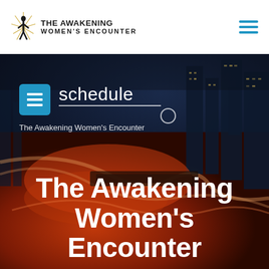[Figure (logo): The Awakening Women's Encounter logo with stylized figure and text]
[Figure (photo): Aerial night cityscape photo with warm red and orange lighting, used as hero background image]
schedule
The Awakening Women's Encounter
The Awakening Women's Encounter